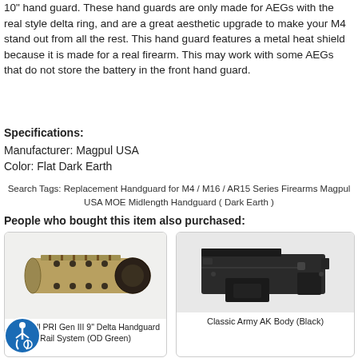10" hand guard. These hand guards are only made for AEGs with the real style delta ring, and are a great aesthetic upgrade to make your M4 stand out from all the rest. This hand guard features a metal heat shield because it is made for a real firearm. This may work with some AEGs that do not store the battery in the front hand guard.
Specifications:
Manufacturer: Magpul USA
Color: Flat Dark Earth
Search Tags: Replacement Handguard for M4 / M16 / AR15 Series Firearms Magpul USA MOE Midlength Handguard ( Dark Earth )
People who bought this item also purchased:
[Figure (photo): Madbull PRI Gen III 9" Delta Handguard Rail System (OD Green) - tan/olive colored cylindrical rail handguard with holes]
Madbull PRI Gen III 9" Delta Handguard Rail System (OD Green)
[Figure (photo): Classic Army AK Body (Black) - black rectangular AK lower receiver body]
Classic Army AK Body (Black)